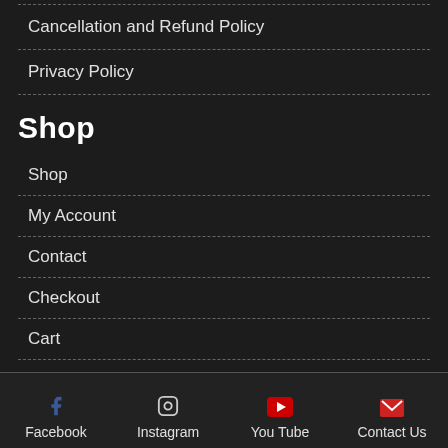Cancellation and Refund Policy
Privacy Policy
Shop
Shop
My Account
Contact
Checkout
Cart
Facebook  Instagram  You Tube  Contact Us